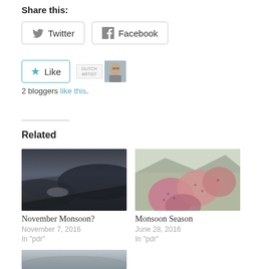Share this:
[Figure (screenshot): Twitter and Facebook share buttons]
[Figure (screenshot): Like button with 2 blogger avatars and text '2 bloggers like this.']
Related
[Figure (photo): Dark stormy clouds sky photo for 'November Monsoon?' post]
November Monsoon?
November 7, 2016
In "pdr"
[Figure (photo): Prickly pear cactus pads photo for 'Monsoon Season' post]
Monsoon Season
June 28, 2016
In "pdr"
[Figure (photo): Overcast cloudy sky photo, third related post]